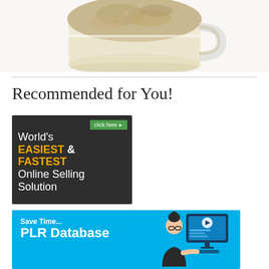[Figure (photo): Partial view of a coffee mug with frothy latte or cappuccino, cut off at the top of the page, on a white background.]
Recommended for You!
[Figure (infographic): Dark grey advertisement banner with green 'click here' button. Text reads: World's EASIEST & FASTEST Online Selling Solution]
[Figure (infographic): Blue advertisement banner. Text reads: Save Time... PLR Database. Right side shows illustration of a person at a computer with a video play button.]